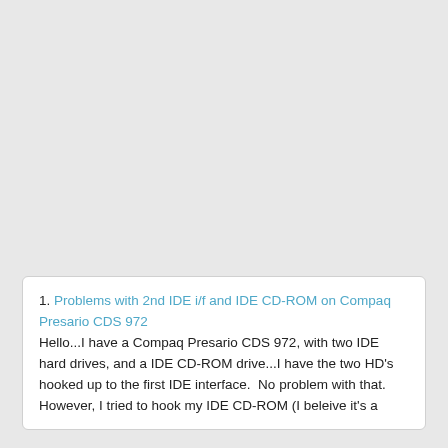1. Problems with 2nd IDE i/f and IDE CD-ROM on Compaq Presario CDS 972
Hello...I have a Compaq Presario CDS 972, with two IDE hard drives, and a IDE CD-ROM drive...I have the two HD's hooked up to the first IDE interface.  No problem with that.  However, I tried to hook my IDE CD-ROM (I beleive it's a